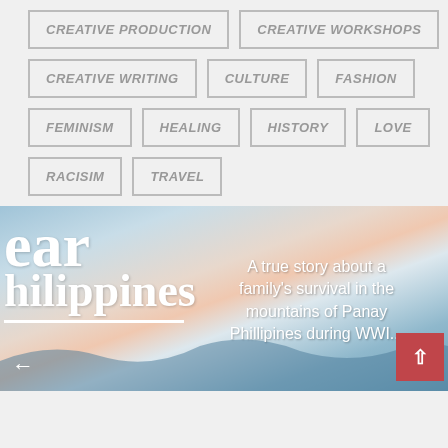CREATIVE PRODUCTION
CREATIVE WORKSHOPS
CREATIVE WRITING
CULTURE
FASHION
FEMINISM
HEALING
HISTORY
LOVE
RACISIM
TRAVEL
[Figure (photo): A scenic photo of the Philippines with sunset sky, mountains and water, overlaid with large white text reading 'ear' and 'hilippines' (partially visible), and a subtitle: 'A true story about a family's survival in the mountains of Panay Phillipines during WWII'. Includes a left arrow and a red scroll-to-top button.]